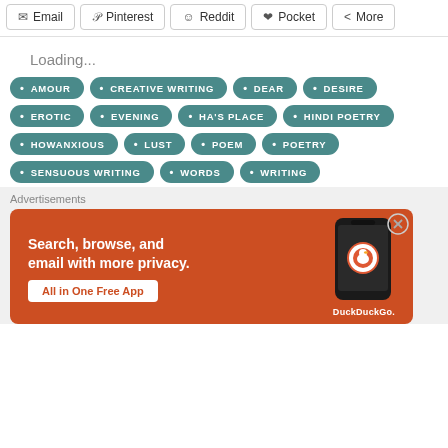[Figure (screenshot): Row of social share buttons: Email, Pinterest, Reddit, Pocket, More]
Loading...
AMOUR
CREATIVE WRITING
DEAR
DESIRE
EROTIC
EVENING
HA'S PLACE
HINDI POETRY
HOWANXIOUS
LUST
POEM
POETRY
SENSUOUS WRITING
WORDS
WRITING
Advertisements
[Figure (photo): DuckDuckGo advertisement banner with orange background. Text: Search, browse, and email with more privacy. All in One Free App. Shows a smartphone with DuckDuckGo logo.]